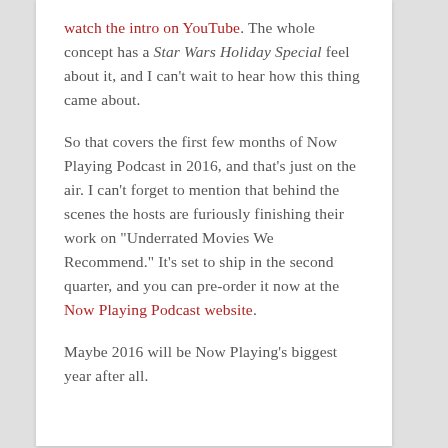watch the intro on YouTube. The whole concept has a Star Wars Holiday Special feel about it, and I can't wait to hear how this thing came about.

So that covers the first few months of Now Playing Podcast in 2016, and that's just on the air. I can't forget to mention that behind the scenes the hosts are furiously finishing their work on "Underrated Movies We Recommend." It's set to ship in the second quarter, and you can pre-order it now at the Now Playing Podcast website.

Maybe 2016 will be Now Playing's biggest year after all.
Jason Latham
Movies, Now Playing Podcast, Podcasts